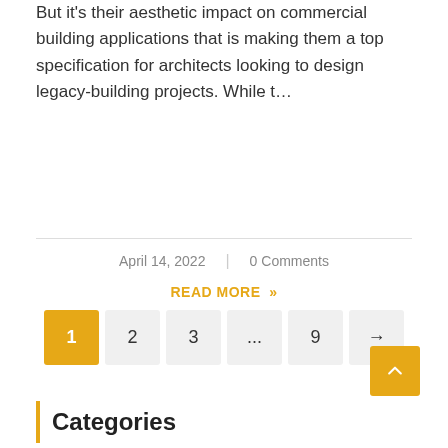But it's their aesthetic impact on commercial building applications that is making them a top specification for architects looking to design legacy-building projects. While t…
April 14, 2022  |  0 Comments
READ MORE »
1  2  3  ...  9  →
Categories